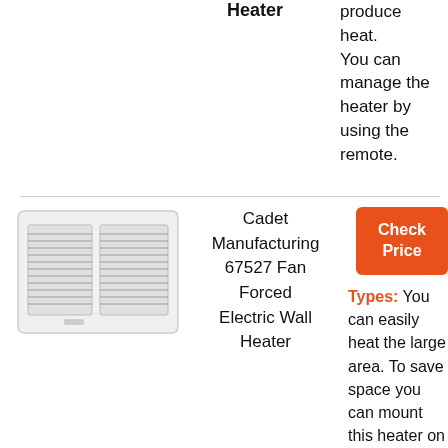Heater
produce heat. You can manage the heater by using the remote.
[Figure (photo): Cadet Manufacturing 67527 Fan Forced Electric Wall Heater product photo showing white wall heater unit with ventilation grilles]
Cadet Manufacturing 67527 Fan Forced Electric Wall Heater
Types: You can easily heat the large area. To save space you can mount this heater on the wall. This heater is made with the high-
Check Price